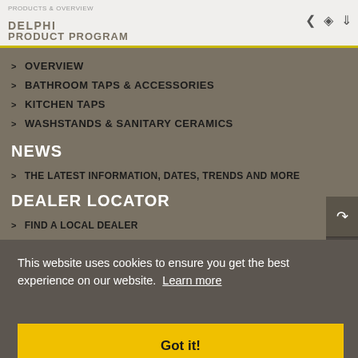DELPHI | PRODUCT PROGRAM
OVERVIEW
BATHROOM TAPS & ACCESSORIES
KITCHEN TAPS
WASHSTANDS & SANITARY CERAMICS
NEWS
THE LATEST INFORMATION, DATES, TRENDS AND MORE
DEALER LOCATOR
FIND A LOCAL DEALER
This website uses cookies to ensure you get the best experience on our website. Learn more
Got it!
PRESS COVERAGE